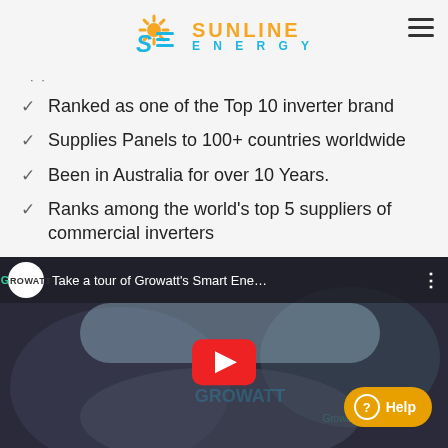[Figure (logo): Sunline Energy logo with sun icon, stylized SE letters in blue, SUNLINE in orange, ENERGY in blue]
Ranked as one of the Top 10 inverter brand
Supplies Panels to 100+ countries worldwide
Been in Australia for over 10 Years.
Ranks among the world's top 5 suppliers of commercial inverters
[Figure (screenshot): YouTube video thumbnail showing 'Take a tour of Growatt's Smart Ene...' with Growatt logo, play button, and Help button overlay]